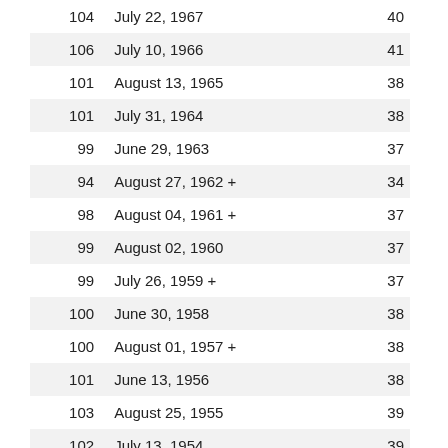| 104 | July 22, 1967 | 40 |
| 106 | July 10, 1966 | 41 |
| 101 | August 13, 1965 | 38 |
| 101 | July 31, 1964 | 38 |
| 99 | June 29, 1963 | 37 |
| 94 | August 27, 1962 + | 34 |
| 98 | August 04, 1961 + | 37 |
| 99 | August 02, 1960 | 37 |
| 99 | July 26, 1959 + | 37 |
| 100 | June 30, 1958 | 38 |
| 100 | August 01, 1957 + | 38 |
| 101 | June 13, 1956 | 38 |
| 103 | August 25, 1955 | 39 |
| 102 | July 13, 1954 | 39 |
| 101 | June 18, 1953 | 38 |